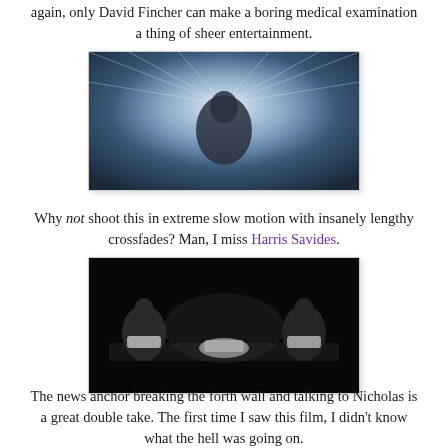again, only David Fincher can make a boring medical examination a thing of sheer entertainment.
[Figure (photo): A dramatic backlit scene of a man in a white shirt with rays of light emanating behind him.]
Why not shoot this in extreme slow motion with insanely lengthy crossfades? Man, I miss Harris Savides.
[Figure (photo): A very dark scene with two or three figures in white, dimly lit against a dark background.]
The news anchor breaking the forth wall and talking to Nicholas is a great double take. The first time I saw this film, I didn't know what the hell was going on.
[Figure (photo): A nearly black image, partial view of a dark scene.]